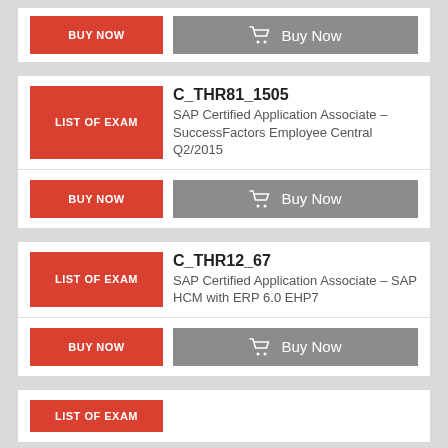BUY NOW | Buy Now (top partial buttons)
LIST OF EXAM | C_THR81_1505 - SAP Certified Application Associate - SuccessFactors Employee Central Q2/2015
BUY NOW | Buy Now
LIST OF EXAM | C_THR12_67 - SAP Certified Application Associate - SAP HCM with ERP 6.0 EHP7
BUY NOW | Buy Now
LIST OF EXAM (partial bottom)